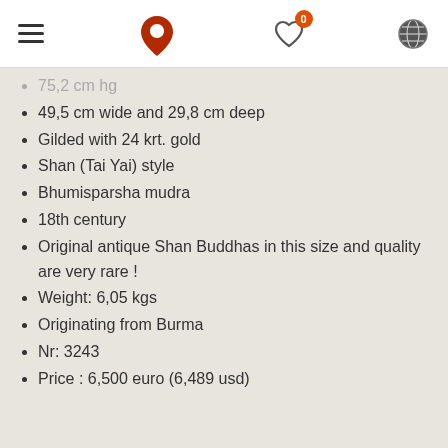Navigation header with hamburger menu, logo, wishlist (0), and globe icon
75,2 cm hg
49,5 cm wide and 29,8 cm deep
Gilded with 24 krt. gold
Shan (Tai Yai) style
Bhumisparsha mudra
18th century
Original antique Shan Buddhas in this size and quality are very rare !
Weight: 6,05 kgs
Originating from Burma
Nr: 3243
Price : 6,500 euro (6,489 usd)